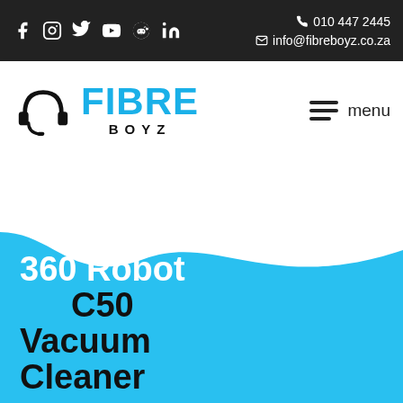010 447 2445 | info@fibreboyz.co.za
[Figure (logo): Fibre Boyz logo with headset icon, blue FIBRE text and black BOYZ text]
360 Robot C50 Vacuum Cleaner